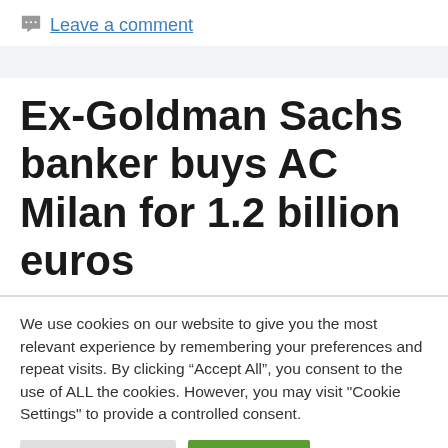Leave a comment
Ex-Goldman Sachs banker buys AC Milan for 1.2 billion euros
We use cookies on our website to give you the most relevant experience by remembering your preferences and repeat visits. By clicking “Accept All”, you consent to the use of ALL the cookies. However, you may visit "Cookie Settings" to provide a controlled consent.